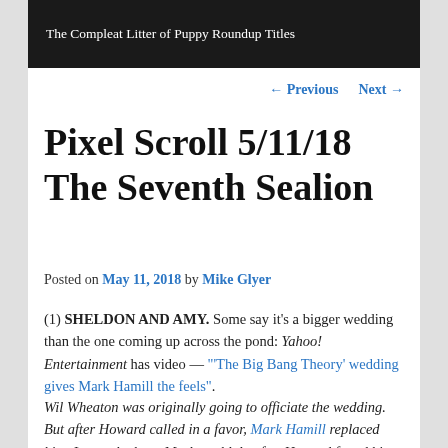The Compleat Litter of Puppy Roundup Titles
← Previous   Next →
Pixel Scroll 5/11/18 The Seventh Sealion
Posted on May 11, 2018 by Mike Glyer
(1) SHELDON AND AMY. Some say it's a bigger wedding than the one coming up across the pond: Yahoo! Entertainment has video — "'The Big Bang Theory' wedding gives Mark Hamill the feels".
Wil Wheaton was originally going to officiate the wedding. But after Howard called in a favor, Mark Hamill replaced him. It was the least Mark could do after Howard found his dog, Bark